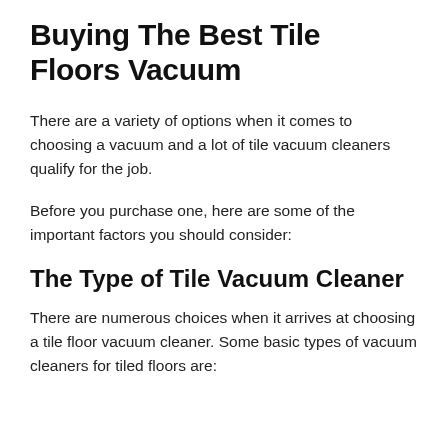Buying The Best Tile Floors Vacuum
There are a variety of options when it comes to choosing a vacuum and a lot of tile vacuum cleaners qualify for the job.
Before you purchase one, here are some of the important factors you should consider:
The Type of Tile Vacuum Cleaner
There are numerous choices when it arrives at choosing a tile floor vacuum cleaner. Some basic types of vacuum cleaners for tiled floors are: